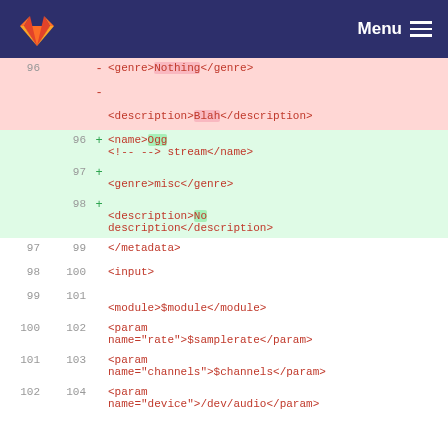GitLab Menu
[Figure (screenshot): Code diff view showing XML file changes. Deleted lines (red background): line 96 shows '<genre>Nothing</genre>', '-', '<description>Blah</description>'. Added lines (green background): line 96 shows '<name>Ogg stream</name>', line 97 shows '<genre>misc</genre>', line 98 shows '<description>No description</description>'. Context lines: 97/99 '</metadata>', 98/100 '<input>', 99/101 '<module>$module</module>', 100/102 '<param name="rate">$samplerate</param>', 101/103 '<param name="channels">$channels</param>', 102/104 '<param name="device">/dev/audio</param>'.]